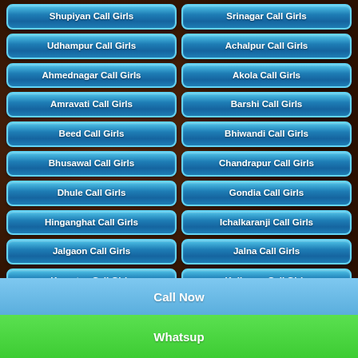Shupiyan Call Girls
Srinagar Call Girls
Udhampur Call Girls
Achalpur Call Girls
Ahmednagar Call Girls
Akola Call Girls
Amravati Call Girls
Barshi Call Girls
Beed Call Girls
Bhiwandi Call Girls
Bhusawal Call Girls
Chandrapur Call Girls
Dhule Call Girls
Gondia Call Girls
Hinganghat Call Girls
Ichalkaranji Call Girls
Jalgaon Call Girls
Jalna Call Girls
Kamptee Call Girls
Kolhapur Call Girls
Latur Call Girls
Malegaon Call Girls
Call Now
Whatsup